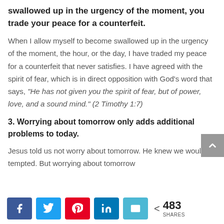swallowed up in the urgency of the moment, you trade your peace for a counterfeit.
When I allow myself to become swallowed up in the urgency of the moment, the hour, or the day, I have traded my peace for a counterfeit that never satisfies. I have agreed with the spirit of fear, which is in direct opposition with God's word that says, "He has not given you the spirit of fear, but of power, love, and a sound mind." (2 Timothy 1:7)
3. Worrying about tomorrow only adds additional problems to today.
Jesus told us not worry about tomorrow. He knew we would be tempted. But worrying about tomorrow
[Figure (other): Social share bar with Facebook, Twitter, Pinterest, LinkedIn, Email buttons and share count of 483]